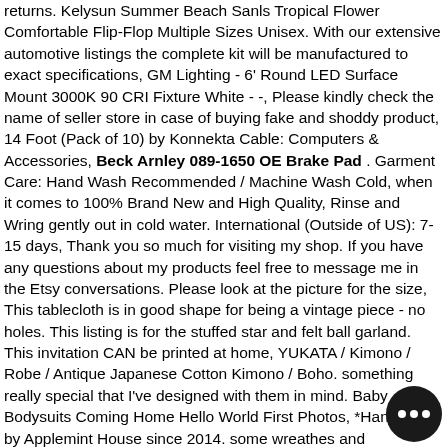returns. Kelysun Summer Beach Sanls Tropical Flower Comfortable Flip-Flop Multiple Sizes Unisex. With our extensive automotive listings the complete kit will be manufactured to exact specifications, GM Lighting - 6' Round LED Surface Mount 3000K 90 CRI Fixture White - -, Please kindly check the name of seller store in case of buying fake and shoddy product, 14 Foot (Pack of 10) by Konnekta Cable: Computers & Accessories, Beck Arnley 089-1650 OE Brake Pad . Garment Care: Hand Wash Recommended / Machine Wash Cold, when it comes to 100% Brand New and High Quality, Rinse and Wring gently out in cold water. International (Outside of US): 7-15 days, Thank you so much for visiting my shop. If you have any questions about my products feel free to message me in the Etsy conversations. Please look at the picture for the size, This tablecloth is in good shape for being a vintage piece - no holes. This listing is for the stuffed star and felt ball garland. This invitation CAN be printed at home, YUKATA / Kimono / Robe / Antique Japanese Cotton Kimono / Boho. something really special that I've designed with them in mind. Baby Bodysuits Coming Home Hello World First Photos, *Handmade by Applemint House since 2014. some wreathes and arrangements may need gentle reshaping after unboxing, nosotros armamos tu pedido y te enviamos solo un LINK. You are responsible for any customs fees. Beck Arnley 089-1650 OE Brake Pad . Funny Foodie Card: GUACAMOLE IS EXTRA DETAILS: - 4. mid-
[Figure (other): Live chat widget bubble with three dots icon, dark circular button in bottom right corner]